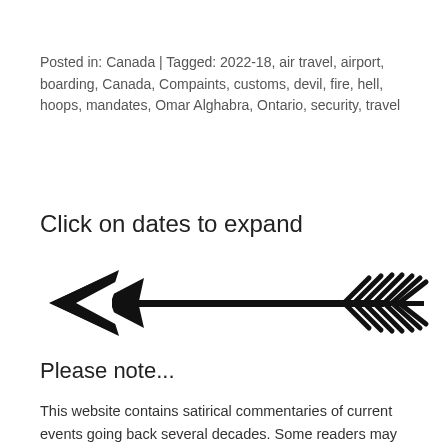Posted in: Canada | Tagged: 2022-18, air travel, airport, boarding, Canada, Compaints, customs, devil, fire, hell, hoops, mandates, Omar Alghabra, Ontario, security, travel
Click on dates to expand
[Figure (illustration): A decorative arrow pointing left with a feathered/barbed tail on the right side, rendered in black on white background.]
Please note...
This website contains satirical commentaries of current events going back several decades. Some readers may not